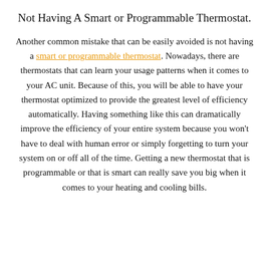Not Having A Smart or Programmable Thermostat.
Another common mistake that can be easily avoided is not having a smart or programmable thermostat. Nowadays, there are thermostats that can learn your usage patterns when it comes to your AC unit. Because of this, you will be able to have your thermostat optimized to provide the greatest level of efficiency automatically. Having something like this can dramatically improve the efficiency of your entire system because you won't have to deal with human error or simply forgetting to turn your system on or off all of the time. Getting a new thermostat that is programmable or that is smart can really save you big when it comes to your heating and cooling bills.